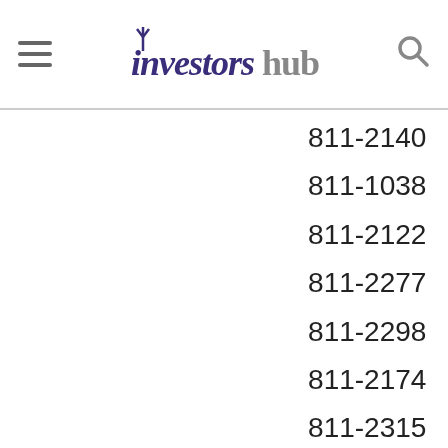investorshub
811-21400
811-10387
811-21225
811-22777
811-22983
811-21745
811-23153
811-08134
811-01243
811-01545
811-22896
811-09147